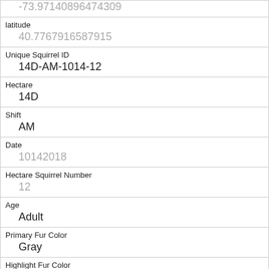| Field | Value |
| --- | --- |
| (longitude) | -73.97140896474309 |
| latitude | 40.7767916587915 |
| Unique Squirrel ID | 14D-AM-1014-12 |
| Hectare | 14D |
| Shift | AM |
| Date | 10142018 |
| Hectare Squirrel Number | 12 |
| Age | Adult |
| Primary Fur Color | Gray |
| Highlight Fur Color | Cinnamon, White |
| Combination of Primary and Highlight Color | Gray+Cinnamon, White |